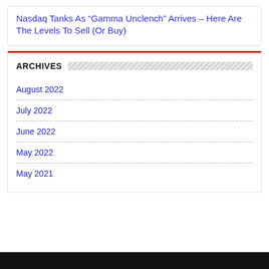Nasdaq Tanks As “Gamma Unclench” Arrives – Here Are The Levels To Sell (Or Buy)
ARCHIVES
August 2022
July 2022
June 2022
May 2022
May 2021